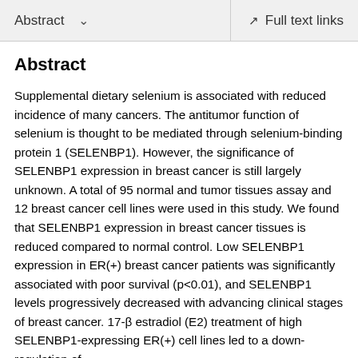Abstract   Full text links
Abstract
Supplemental dietary selenium is associated with reduced incidence of many cancers. The antitumor function of selenium is thought to be mediated through selenium-binding protein 1 (SELENBP1). However, the significance of SELENBP1 expression in breast cancer is still largely unknown. A total of 95 normal and tumor tissues assay and 12 breast cancer cell lines were used in this study. We found that SELENBP1 expression in breast cancer tissues is reduced compared to normal control. Low SELENBP1 expression in ER(+) breast cancer patients was significantly associated with poor survival (p<0.01), and SELENBP1 levels progressively decreased with advancing clinical stages of breast cancer. 17-β estradiol (E2) treatment of high SELENBP1-expressing ER(+) cell lines led to a down-regulation of